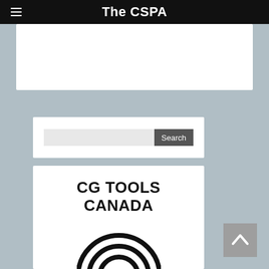The CSPA
[Figure (screenshot): White image/banner placeholder area below the navigation bar]
[Figure (screenshot): Search widget with text input and Search button]
[Figure (logo): CG Tools Canada logo text in bold black serif font]
[Figure (logo): Circular G logo mark (CG Tools Canada) partially visible at bottom of page]
[Figure (other): Back-to-top button with upward chevron arrow, grey background, bottom right corner]